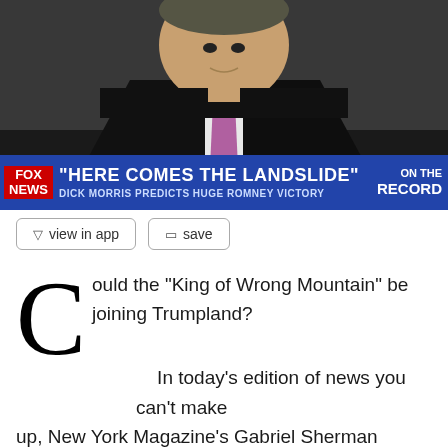[Figure (screenshot): Fox News broadcast screenshot showing a man in a dark suit with a pink/purple tie. Lower-third banner reads: FOX NEWS | "HERE COMES THE LANDSLIDE" | DICK MORRIS PREDICTS HUGE ROMNEY VICTORY | ON THE RECORD]
view in app
save
Could the "King of Wrong Mountain" be joining Trumpland? In today's edition of news you can't make up, New York Magazine's Gabriel Sherman reports that the former Fox News contributor and reliably incorrect political prognosticator Dick Morris is in talks to join Donald Trump's presidential campaign.